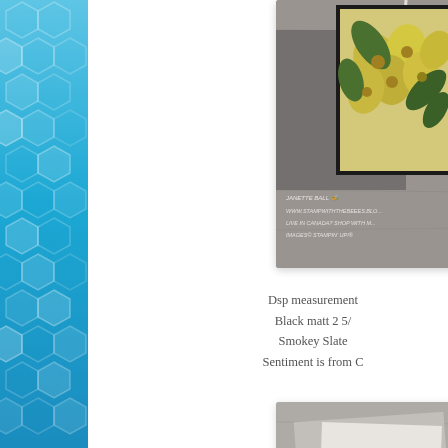[Figure (photo): Crafting/stamping photo showing a floral card with yellow flowers on a gray mat background, with handwritten watermark text including 'Janette Ball', 'www.stampwiththebeees.blog', 'Live in Canada? Shop with me', 'Images© Stampin Up®']
Dsp measurement
Black matt 2 5/
Smokey Slate
Sentiment is from C
[Figure (photo): Second crafting photo showing cards/paper on a wood surface, partially visible]